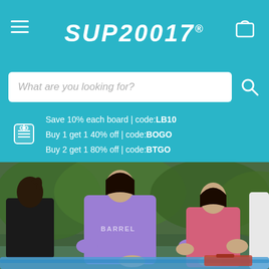SUPZOOM
What are you looking for?
Save 10% each board | code:LB10
Buy 1 get 1 40% off | code:BOGO
Buy 2 get 1 80% off | code:BTGO
[Figure (photo): Women doing yoga meditation on paddleboards near water with green trees in background. One woman wears a purple long-sleeve rashguard with BARREL text, another wears a pink halter top, another wears black. They are seated in lotus pose on SUP boards.]